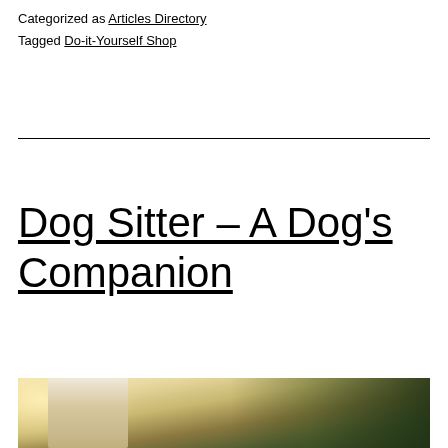Categorized as Articles Directory
Tagged Do-it-Yourself Shop
Dog Sitter – A Dog's Companion
[Figure (photo): A person walking or standing outdoors with a dog, with bright sunlight and green trees in the background.]